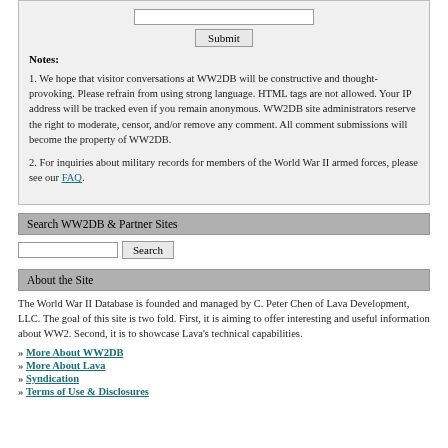[Figure (other): Form input field (text box) and Submit button inside a light gray bordered box]
Notes:
1. We hope that visitor conversations at WW2DB will be constructive and thought-provoking. Please refrain from using strong language. HTML tags are not allowed. Your IP address will be tracked even if you remain anonymous. WW2DB site administrators reserve the right to moderate, censor, and/or remove any comment. All comment submissions will become the property of WW2DB.
2. For inquiries about military records for members of the World War II armed forces, please see our FAQ.
Search WW2DB & Partner Sites
[Figure (other): Search input box and Search button]
About the Site
The World War II Database is founded and managed by C. Peter Chen of Lava Development, LLC. The goal of this site is two fold. First, it is aiming to offer interesting and useful information about WW2. Second, it is to showcase Lava's technical capabilities.
» More About WW2DB
» More About Lava
» Syndication
» Terms of Use & Disclosures